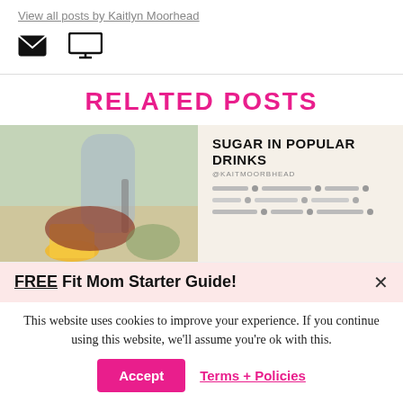View all posts by Kaitlyn Moorhead
[Figure (infographic): Email and website icon symbols]
RELATED POSTS
[Figure (photo): Woman cutting food with orange juice on table]
[Figure (infographic): Sugar in popular drinks bar chart infographic with @kaitmoorbhead handle]
FREE Fit Mom Starter Guide!
This website uses cookies to improve your experience. If you continue using this website, we'll assume you're ok with this.
Accept
Terms + Policies